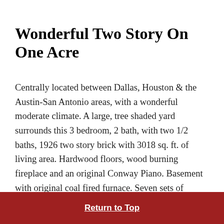Wonderful Two Story On One Acre
Centrally located between Dallas, Houston & the Austin-San Antonio areas, with a wonderful moderate climate. A large, tree shaded yard surrounds this 3 bedroom, 2 bath, with two 1/2 baths, 1926 two story brick with 3018 sq. ft. of living area. Hardwood floors, wood burning fireplace and an original Conway Piano. Basement with original coal fired furnace. Seven sets of French Doors, original windows and doors, original wood blinds, full attic.
Archived in August, 2016
Return to Top